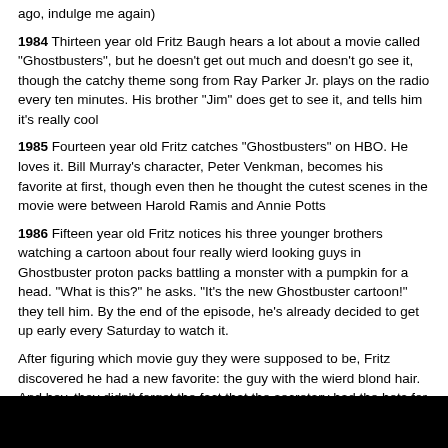ago, indulge me again)
1984 Thirteen year old Fritz Baugh hears a lot about a movie called "Ghostbusters", but he doesn't get out much and doesn't go see it, though the catchy theme song from Ray Parker Jr. plays on the radio every ten minutes. His brother "Jim" does get to see it, and tells him it's really cool
1985 Fourteen year old Fritz catches "Ghostbusters" on HBO. He loves it. Bill Murray's character, Peter Venkman, becomes his favorite at first, though even then he thought the cutest scenes in the movie were between Harold Ramis and Annie Potts
1986 Fifteen year old Fritz notices his three younger brothers watching a cartoon about four really wierd looking guys in Ghostbuster proton packs battling a monster with a pumpkin for a head. "What is this?" he asks. "It's the new Ghostbuster cartoon!" they tell him. By the end of the episode, he's already decided to get up early every Saturday to watch it.
After figuring which movie guy they were supposed to be, Fritz discovered he had a new favorite: the guy with the wierd blond hair. And hey, they didn't forget the fact that the secretary had the hots for him! And she's really cool too--gutsy, abraisive, sarcastic, so so different from those bland Mommy figures he grew up with! And they have such superb chemistry--weird and touching, Egon and Janine become one of Fritz's favorite fictional couples ever